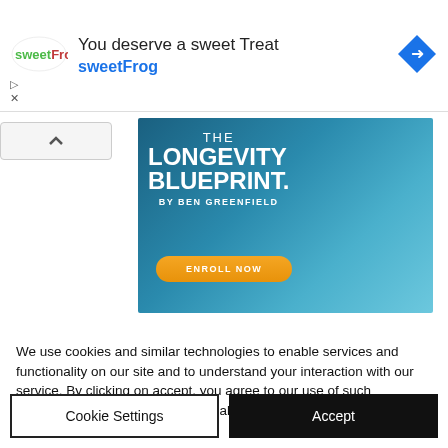[Figure (screenshot): SweetFrog advertisement banner with logo, text 'You deserve a sweet Treat' and 'sweetFrog', with navigation icon]
[Figure (screenshot): The Longevity Blueprint by Ben Greenfield advertisement with Enroll Now button]
We use cookies and similar technologies to enable services and functionality on our site and to understand your interaction with our service. By clicking on accept, you agree to our use of such technologies for marketing and analytics. See Privacy Policy
Cookie Settings
Accept